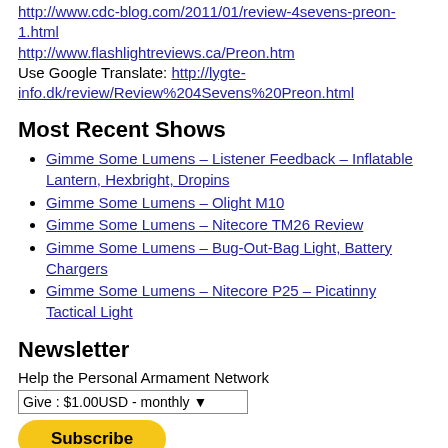http://www.cdc-blog.com/2011/01/review-4sevens-preon-1.html
http://www.flashlightreviews.ca/Preon.htm
Use Google Translate: http://lygte-info.dk/review/Review%204Sevens%20Preon.html
Most Recent Shows
Gimme Some Lumens – Listener Feedback – Inflatable Lantern, Hexbright, Dropins
Gimme Some Lumens – Olight M10
Gimme Some Lumens – Nitecore TM26 Review
Gimme Some Lumens – Bug-Out-Bag Light, Battery Chargers
Gimme Some Lumens – Nitecore P25 – Picatinny Tactical Light
Newsletter
Help the Personal Armament Network
Give : $1.00USD - monthly
Subscribe
[Figure (other): Payment card icons: VISA, Mastercard, Maestro, American Express, Discover]
Proudly powered by WordPress